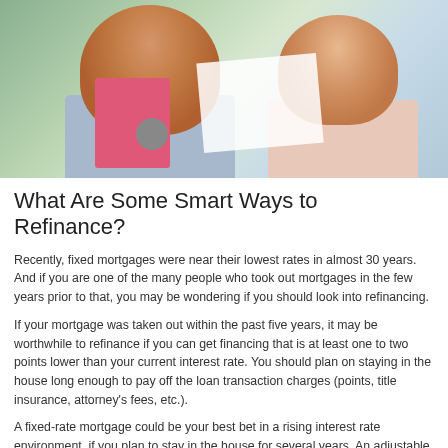[Figure (photo): A smiling middle-aged couple looking at documents together, with a pink folder and papers on a table in front of them. Background shows plants/garden.]
What Are Some Smart Ways to Refinance?
Recently, fixed mortgages were near their lowest rates in almost 30 years. And if you are one of the many people who took out mortgages in the few years prior to that, you may be wondering if you should look into refinancing.
If your mortgage was taken out within the past five years, it may be worthwhile to refinance if you can get financing that is at least one to two points lower than your current interest rate. You should plan on staying in the house long enough to pay off the loan transaction charges (points, title insurance, attorney's fees, etc.).
A fixed-rate mortgage could be your best bet in a rising interest rate environment, if you plan to stay in the house for several years. An adjustable mortgage may suit you if you will be moving within a few years, but you need to ensure that you will be able to handle